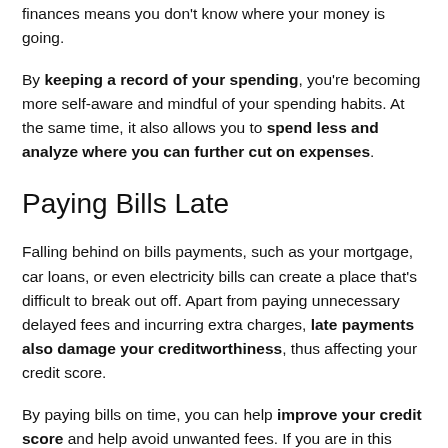finances means you don't know where your money is going.
By keeping a record of your spending, you're becoming more self-aware and mindful of your spending habits. At the same time, it also allows you to spend less and analyze where you can further cut on expenses.
Paying Bills Late
Falling behind on bills payments, such as your mortgage, car loans, or even electricity bills can create a place that's difficult to break out off. Apart from paying unnecessary delayed fees and incurring extra charges, late payments also damage your creditworthiness, thus affecting your credit score.
By paying bills on time, you can help improve your credit score and help avoid unwanted fees. If you are in this